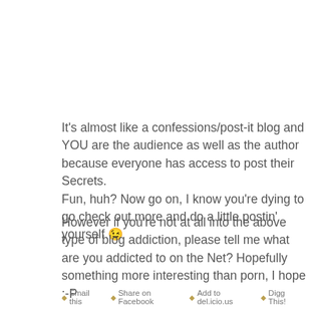It's almost like a confessions/post-it blog and YOU are the audience as well as the author because everyone has access to post their Secrets. Fun, huh? Now go on, I know you're dying to go check out more and do a little postin' yourself 😉
However if you're not at all into the above type of blog addiction, please tell me what are you addicted to on the Net? Hopefully something more interesting than porn, I hope ;-P
◆ Email this  ◆ Share on Facebook  ◆ Add to del.icio.us  ◆ Digg This!